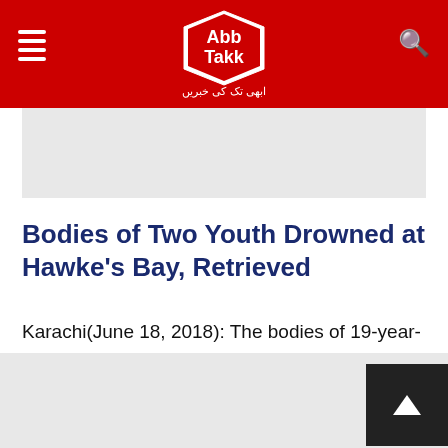Abb Takk
[Figure (other): Gray advertisement/image placeholder block at top]
Bodies of Two Youth Drowned at Hawke's Bay, Retrieved
Karachi(June 18, 2018): The bodies of 19-year-old Faraz and 22-year-old Osama who drowned on Sunday afternoon at Karachi's Sandspit beach have been recovered on Monday morning.  Osama who...
Read more
[Figure (other): Gray advertisement/image placeholder block at bottom]